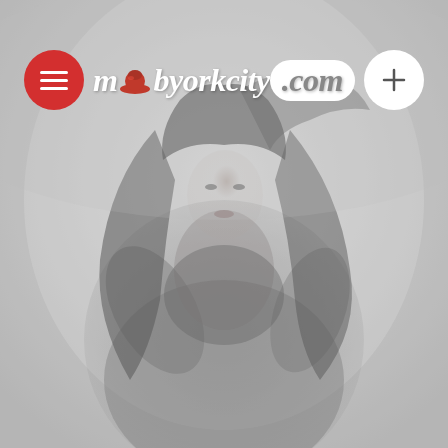[Figure (photo): A woman with long dark hair wearing a dark top, photographed against a gray misty background. The image is desaturated and hazy.]
mobyorkcity.com